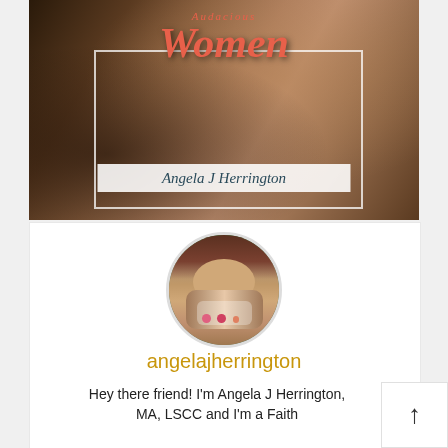[Figure (illustration): Book cover image showing women holding cups with dark bokeh background. Title 'Women' in coral/red italic script font. Author name 'Angela J Herrington' in a white banner overlay.]
[Figure (photo): Circular profile photo of a woman with reddish-brown hair holding a floral teacup up to her face.]
angelajherrington
Hey there friend! I'm Angela J Herrington, MA, LSCC and I'm a Faith